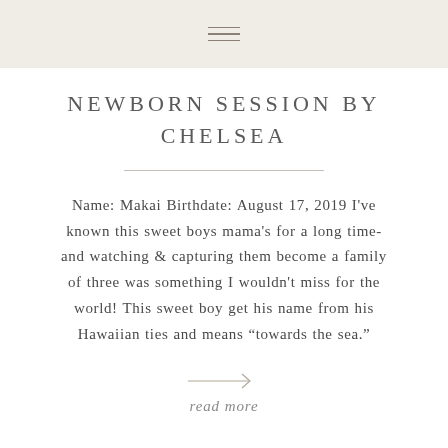[hamburger menu icon]
NEWBORN SESSION BY CHELSEA
Name: Makai Birthdate: August 17, 2019 I've known this sweet boys mama's for a long time- and watching & capturing them become a family of three was something I wouldn't miss for the world! This sweet boy get his name from his Hawaiian ties and means “towards the sea.”
read more